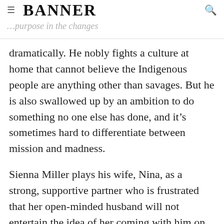BANNER
dramatically. He nobly fights a culture at home that cannot believe the Indigenous people are anything other than savages. But he is also swallowed up by an ambition to do something no one else has done, and it's sometimes hard to differentiate between mission and madness.
Sienna Miller plays his wife, Nina, as a strong, supportive partner who is frustrated that her open-minded husband will not entertain the idea of her coming with him on his travels. In a telling moment, this